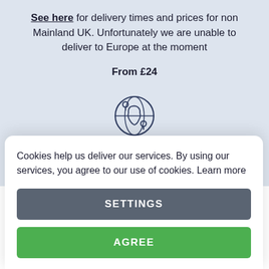See here for delivery times and prices for non Mainland UK. Unfortunately we are unable to deliver to Europe at the moment
From £24
[Figure (illustration): Globe icon with location pin markers representing international shipping]
REST OF THE WORLD
Cookies help us deliver our services. By using our services, you agree to our use of cookies. Learn more
SETTINGS
AGREE